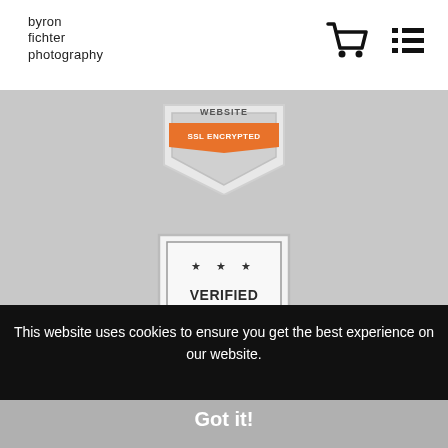byron fichter photography
[Figure (logo): SSL Encrypted website badge - orange and grey shield badge with text 'WEBSITE SSL ENCRYPTED']
[Figure (logo): Verified Archival Material Fine Art badge - shield shaped badge with stars, dark text 'VERIFIED ARCHIVAL MATERIAL' and orange text 'FINE ART', with ribbon bow at bottom]
This website uses cookies to ensure you get the best experience on our website.
Got it!